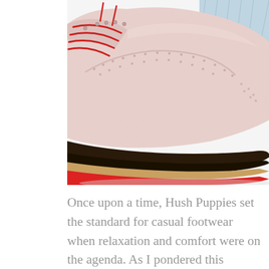[Figure (photo): Close-up photo of a pink/blush suede brogue wingtip shoe with red laces and a distinctive multi-layered sole featuring black, tan, and red stripes. The shoe is shown from the side against a white background, with the toe pointing right and denim fabric visible at the top right.]
Once upon a time, Hush Puppies set the standard for casual footwear when relaxation and comfort were on the agenda. As I pondered this category of shoe and asked myself what I'd be